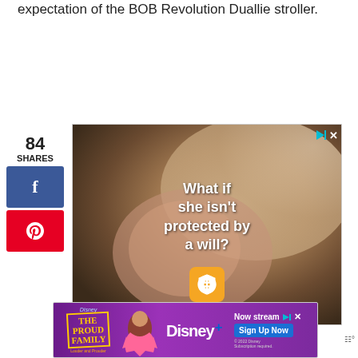expectation of the BOB Revolution Duallie stroller.
84 SHARES
[Figure (photo): Advertisement showing a sleeping baby with text overlay 'What if she isn't protected by a will?' and a scales of justice emoji icon]
[Figure (photo): Disney+ advertisement for The Proud Family with 'Now stream' and 'Sign Up Now' button]